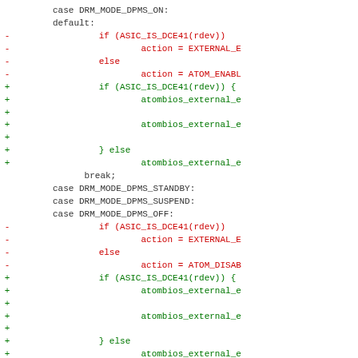[Figure (screenshot): A code diff showing changes to a C source file. Lines with '-' prefix are shown in red (removed), lines with '+' prefix are shown in green (added). The code involves switch-case statements for DRM_MODE_DPMS constants and conditional logic using ASIC_IS_DCE41(rdev) for atombios external encoder control.]